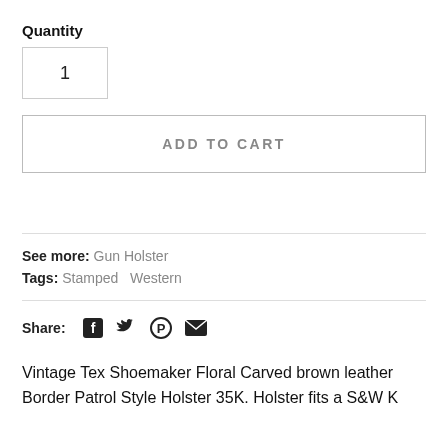Quantity
1
ADD TO CART
See more: Gun Holster
Tags: Stamped   Western
[Figure (infographic): Share icons: Facebook, Twitter, Pinterest, Email]
Share:
Vintage Tex Shoemaker Floral Carved brown leather Border Patrol Style Holster 35K. Holster fits a S&W K